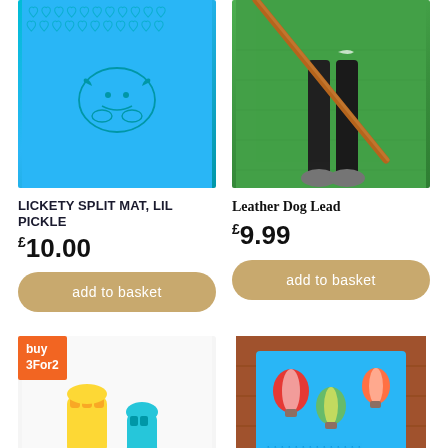[Figure (photo): Blue silicone lick mat with heart patterns and dog face embossed, placed on wooden surface]
[Figure (photo): Person in black activewear holding a long copper/brown leather dog lead on green grass lawn]
LICKETY SPLIT MAT, LIL PICKLE
£10.00
Leather Dog Lead
£9.99
add to basket
add to basket
[Figure (photo): Yellow and teal rubber chew/fetch dog toys on white background with buy 3 For 2 orange badge]
[Figure (photo): Colorful hot air balloon print dog mat in blue fabric on wooden surface]